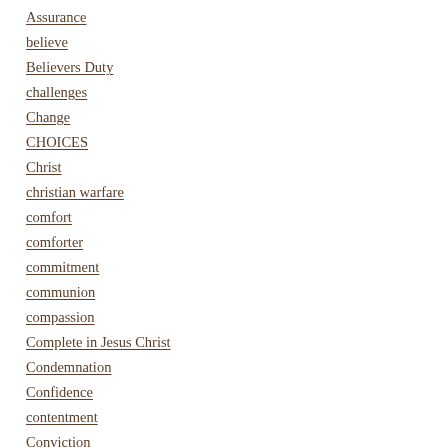Assurance
believe
Believers Duty
challenges
Change
CHOICES
Christ
christian warfare
comfort
comforter
commitment
communion
compassion
Complete in Jesus Christ
Condemnation
Confidence
contentment
Conviction
Counselor